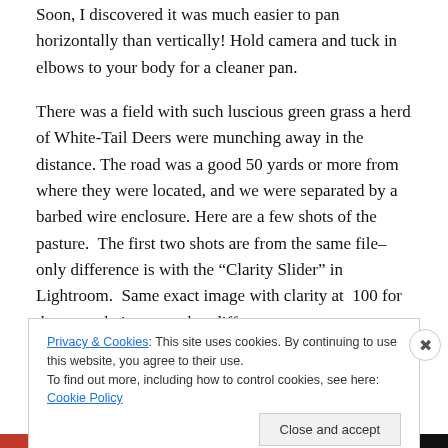Soon, I discovered it was much easier to pan horizontally than vertically! Hold camera and tuck in elbows to your body for a cleaner pan.
There was a field with such luscious green grass a herd of White-Tail Deers were munching away in the distance. The road was a good 50 yards or more from where they were located, and we were separated by a barbed wire enclosure. Here are a few shots of the pasture.  The first two shots are from the same file–only difference is with the “Clarity Slider” in Lightroom.  Same exact image with clarity at  100 for the second view, no other differences
Privacy & Cookies: This site uses cookies. By continuing to use this website, you agree to their use.
To find out more, including how to control cookies, see here: Cookie Policy